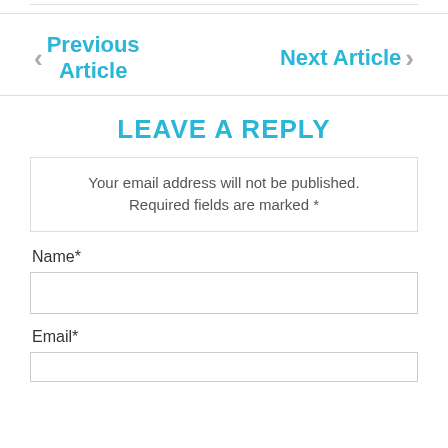< Previous Article
Next Article >
LEAVE A REPLY
Your email address will not be published. Required fields are marked *
Name*
Email*